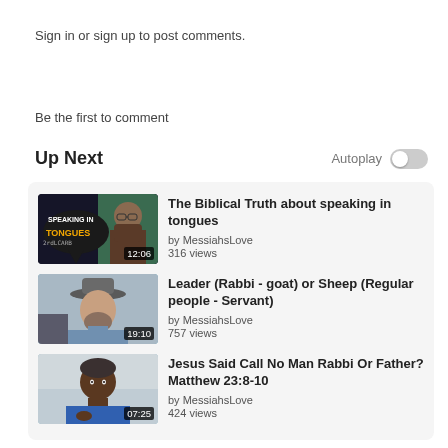Sign in or sign up to post comments.
Be the first to comment
Up Next
Autoplay
[Figure (screenshot): Video thumbnail for 'The Biblical Truth about speaking in tongues' showing text 'SPEAKING IN TONGUES' and a man with beard, duration 12:06]
The Biblical Truth about speaking in tongues
by MessiahsLove
316 views
[Figure (screenshot): Video thumbnail showing a man with hat, duration 19:10]
Leader (Rabbi - goat) or Sheep (Regular people - Servant)
by MessiahsLove
757 views
[Figure (screenshot): Video thumbnail showing a man in blue shirt, duration 07:25]
Jesus Said Call No Man Rabbi Or Father? Matthew 23:8-10
by MessiahsLove
424 views